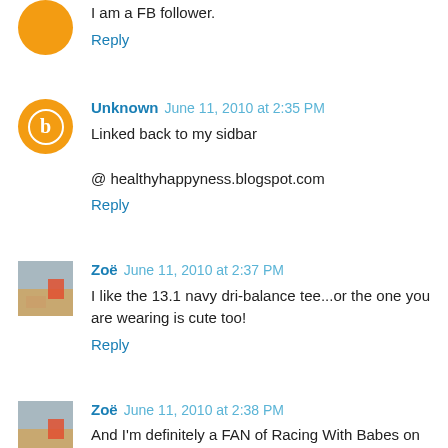I am a FB follower.
Reply
Unknown  June 11, 2010 at 2:35 PM
Linked back to my sidbar

@ healthyhappyness.blogspot.com
Reply
Zoë  June 11, 2010 at 2:37 PM
I like the 13.1 navy dri-balance tee...or the one you are wearing is cute too!
Reply
Zoë  June 11, 2010 at 2:38 PM
And I'm definitely a FAN of Racing With Babes on FB!
Reply